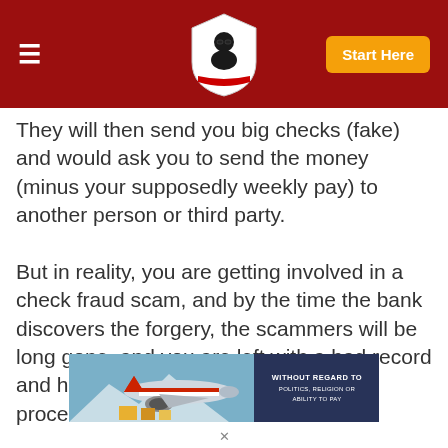Navigation bar with hamburger menu, logo, and Start Here button
They will then send you big checks (fake) and would ask you to send the money (minus your supposedly weekly pay) to another person or third party.
But in reality, you are getting involved in a check fraud scam, and by the time the bank discovers the forgery, the scammers will be long gone, and you are left with a bad record and have lost your own money in the process.
[Figure (photo): Advertisement banner showing cargo airplane being loaded, with dark overlay text reading WITHOUT REGARD TO POLITICS, RELIGION OR ABILITY TO PAY]